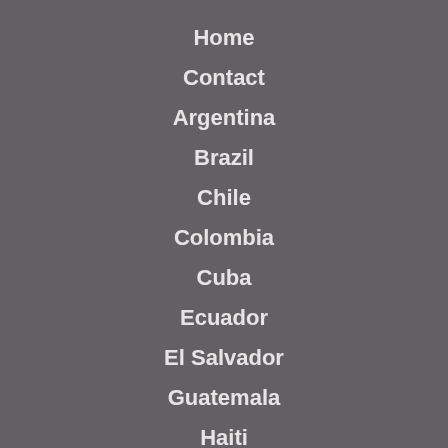Home
Contact
Argentina
Brazil
Chile
Colombia
Cuba
Ecuador
El Salvador
Guatemala
Haiti
Honduras
Mexico